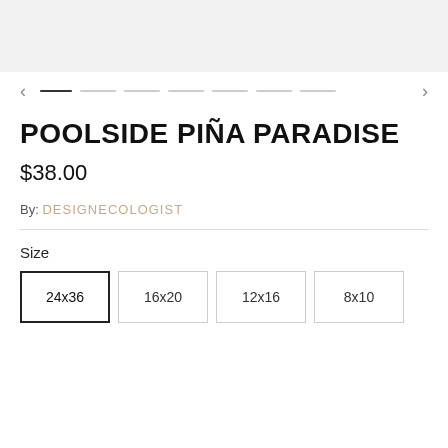[Figure (other): Light gray top banner area]
[Figure (other): Carousel navigation with left arrow, dot indicators (one dark, several light gray dashes), and right arrow]
POOLSIDE PIÑA PARADISE
$38.00
By: DESIGNECOLOGIST
Size
24x36
16x20
12x16
8x10